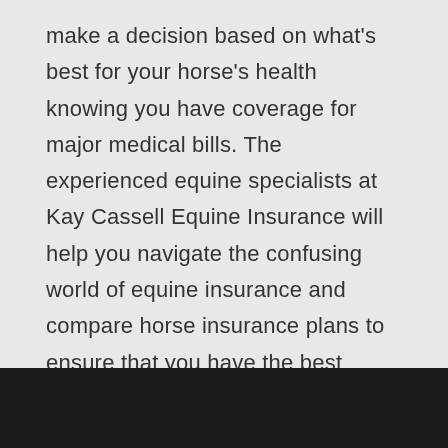make a decision based on what's best for your horse's health knowing you have coverage for major medical bills. The experienced equine specialists at Kay Cassell Equine Insurance will help you navigate the confusing world of equine insurance and compare horse insurance plans to ensure that you have the best horse insurance policy to protect your entire family... including those with four legs.